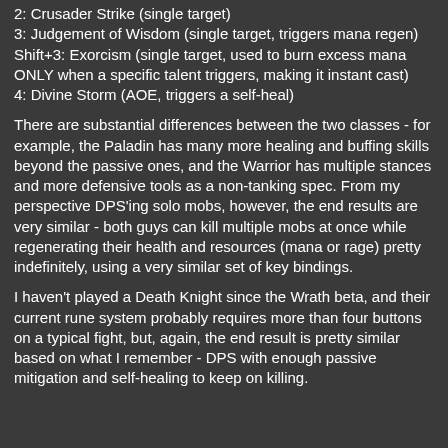2: Crusader Strike (single target)
3: Judgement of Wisdom (single target, triggers mana regen)
Shift+3: Exorcism (single target, used to burn excess mana ONLY when a specific talent triggers, making it instant cast)
4: Divine Storm (AOE, triggers a self-heal)
There are substantial differences between the two classes - for example, the Paladin has many more healing and buffing skills beyond the passive ones, and the Warrior has multiple stances and more defensive tools as a non-tanking spec. From my perspective DPS'ing solo mobs, however, the end results are very similar - both guys can kill multiple mobs at once while regenerating their health and resources (mana or rage) pretty indefinitely, using a very similar set of key bindings.
I haven't played a Death Knight since the Wrath beta, and their current rune system probably requires more than four buttons on a typical fight, but, again, the end result is pretty similar based on what I remember - DPS with enough passive mitigation and self-healing to keep on killing.